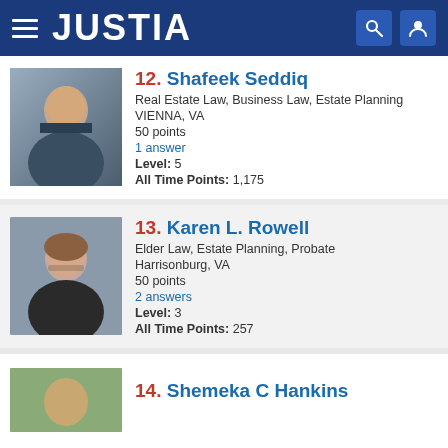JUSTIA
12. Shafeek Seddiq
Real Estate Law, Business Law, Estate Planning
VIENNA, VA
50 points
1 answer
Level: 5
All Time Points: 1,175
13. Karen L. Rowell
Elder Law, Estate Planning, Probate
Harrisonburg, VA
50 points
2 answers
Level: 3
All Time Points: 257
14. Shemeka C Hankins